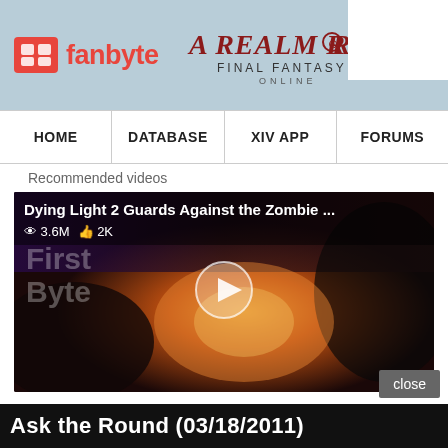fanbyte | A Realm Reborn - Final Fantasy XIV Online
[Figure (logo): Fanbyte logo with red icon on left and red text, alongside A Realm Reborn Final Fantasy XIV Online logo on light blue background header]
[Figure (other): Navigation bar with HOME, DATABASE, XIV APP, FORUMS links]
Recommended videos
[Figure (screenshot): Video thumbnail for 'Dying Light 2 Guards Against the Zombie ...' showing a dark fantasy battle scene with fire, showing 3.6M views and 2K likes, with play button overlay]
Ask the Round (03/18/2011)
close